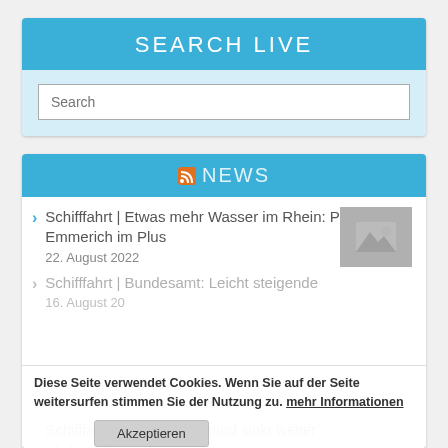SEARCH LIVE
Search
NEWS
Schifffahrt | Etwas mehr Wasser im Rhein: Pegel in Emmerich im Plus
22. August 2022
Schifffahrt | Bundesamt: Leicht steigende
16. August 20…
Diese Seite verwendet Cookies. Wenn Sie auf der Seite weitersurfen stimmen Sie der Nutzung zu. mehr Informationen
Akzeptieren
Schifffahrt | Rheinpegelstand sinkt weiter
14. August 2022